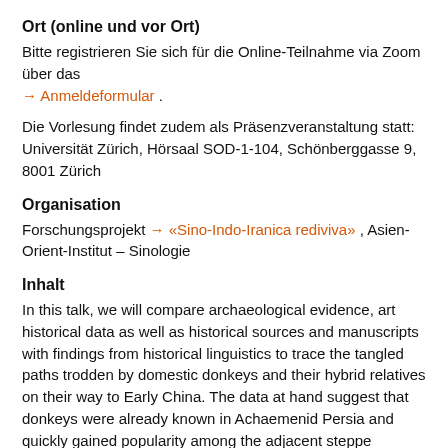Ort (online und vor Ort)
Bitte registrieren Sie sich für die Online-Teilnahme via Zoom über das → Anmeldeformular .
Die Vorlesung findet zudem als Präsenzveranstaltung statt: Universität Zürich, Hörsaal SOD-1-104, Schönberggasse 9, 8001 Zürich
Organisation
Forschungsprojekt → «Sino-Indo-Iranica rediviva» , Asien-Orient-Institut – Sinologie
Inhalt
In this talk, we will compare archaeological evidence, art historical data as well as historical sources and manuscripts with findings from historical linguistics to trace the tangled paths trodden by domestic donkeys and their hybrid relatives on their way to Early China. The data at hand suggest that donkeys were already known in Achaemenid Persia and quickly gained popularity among the adjacent steppe peoples as powerful pack and draft animals. As such they moved further east where they ultimately became known to the Han dynastic court as domestic animals valued by the Xiōngnú 匈奴.
It is noteworthy that Chinese words for donkeys and donkey-like animals